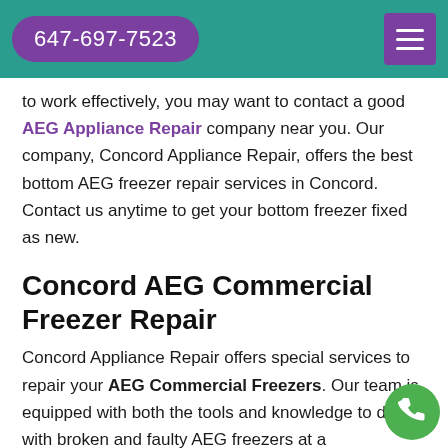647-697-7523
to work effectively, you may want to contact a good AEG Appliance Repair company near you. Our company, Concord Appliance Repair, offers the best bottom AEG freezer repair services in Concord. Contact us anytime to get your bottom freezer fixed as new.
Concord AEG Commercial Freezer Repair
Concord Appliance Repair offers special services to repair your AEG Commercial Freezers. Our team is equipped with both the tools and knowledge to deal with broken and faulty AEG freezers at a...